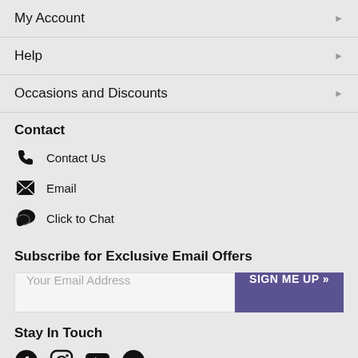My Account
Help
Occasions and Discounts
Contact
Contact Us
Email
Click to Chat
Subscribe for Exclusive Email Offers
Your Email Address
SIGN ME UP »
Stay In Touch
[Figure (other): Social media icons: Facebook, Instagram, YouTube, Pinterest]